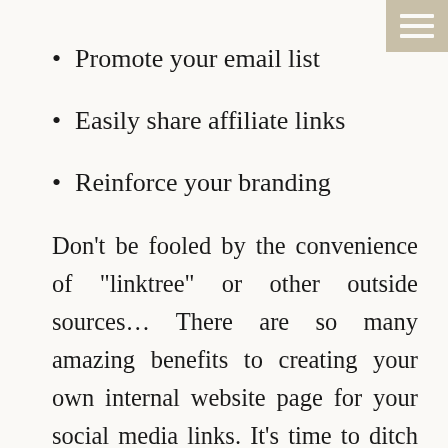Promote your email list
Easily share affiliate links
Reinforce your branding
Don’t be fooled by the convenience of “linktree” or other outside sources… There are so many amazing benefits to creating your own internal website page for your social media links. It’s time to ditch the generic apps. Creating a custom links page within your own